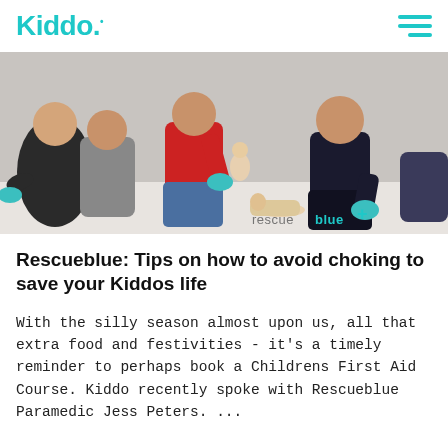Kiddo.
[Figure (photo): First aid training scene: people sitting on floor practicing infant CPR with a mannequin doll. Instructor in red shirt holding infant mannequin, others wearing teal/blue gloves. Rescueblue watermark visible.]
Rescueblue: Tips on how to avoid choking to save your Kiddos life
With the silly season almost upon us, all that extra food and festivities - it's a timely reminder to perhaps book a Childrens First Aid Course. Kiddo recently spoke with Rescueblue Paramedic Jess Peters. ...